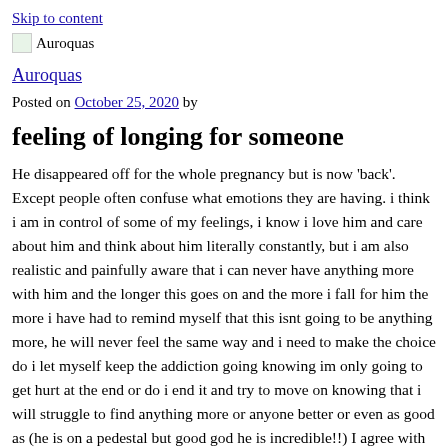Skip to content
Auroquas
Auroquas
Posted on October 25, 2020 by
feeling of longing for someone
He disappeared off for the whole pregnancy but is now 'back'. Except people often confuse what emotions they are having. i think i am in control of some of my feelings, i know i love him and care about him and think about him literally constantly, but i am also realistic and painfully aware that i can never have anything more with him and the longer this goes on and the more i fall for him the more i have had to remind myself that this isnt going to be anything more, he will never feel the same way and i need to make the choice do i let myself keep the addiction going knowing im only going to get hurt at the end or do i end it and try to move on knowing that i will struggle to find anything more or anyone better or even as good as (he is on a pedestal but good god he is incredible!!) I agree with the commenter above you that we cannot help what we feel, but we can decide how we act on it. Why Do People Risk Their Own Health for Their Pets? I still care for men